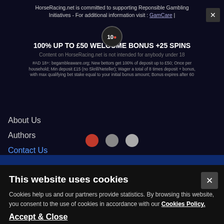[Figure (screenshot): Advertisement overlay for 10Bet showing '100% UP TO £50 WELCOME BONUS +25 SPINS' with small print terms]
HorseRacing.net is committed to supporting Reponsible Gambling Initiatives - For additional information visit : GamCare |
100% UP TO £50 WELCOME BONUS +25 SPINS
Content on HorseRacing.net is not intended for anybody under 18
#AD 18+: begambleaware.org; New bettors get 100% of deposit up to £50; Once per household; Min deposit £15 (no Skrill/Neteller); Wager a total of 8 times deposit + bonus, with max qualifying bet stake equal to your initial bonus amount; Bonus expires after 60
About Us
Authors
Contact Us
Responsible Gambling
Grand National Odds
Privacy Policy
Cheltenham Gold Cup Odds
This website uses cookies
Cookies help us and our partners provide statistics. By browsing this website, you consent to the use of cookies in accordance with our Cookies Policy.
Accept & Close